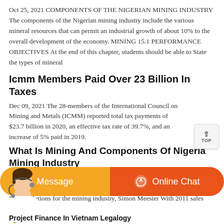Oct 25, 2021 COMPONENTS OF THE NIGERIAN MINING INDUSTRY The components of the Nigerian mining industry include the various mineral resources that can permit an industrial growth of about 10% to the overall development of the economy. MINING 15.1 PERFORMANCE OBJECTIVES At the end of this chapter, students should be able to State the types of mineral
Icmm Members Paid Over 23 Billion In Taxes
Dec 09, 2021 The 28-members of the International Council on Mining and Metals (ICMM) reported total tax payments of $23.7 billion in 2020, an effective tax rate of 39.7%, and an increase of 5% paid in 2019.
What Is Mining And Components Of Nigeria Mining Industry
Apr 29, 2013 Eaton targets South African mining industry in growth drive 31 Aug 2012 A Review of The Nigerian Energy Industry Commenting on Eaton solutions for the mining industry, Simon Meester With 2011 sales
[Figure (screenshot): Bottom chat bar with orange Message button and darker orange Online Chat button with headset icon, and a customer service representative avatar on the left]
Project Finance In Vietnam Legalogy